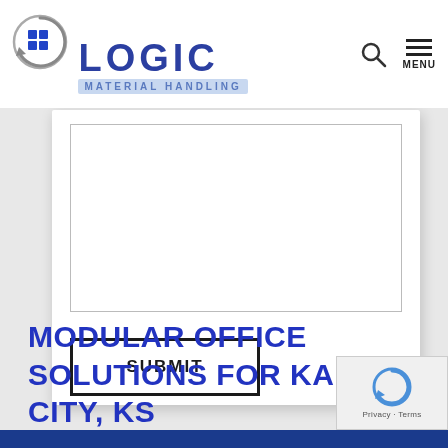[Figure (logo): Logic Material Handling logo with circular arrow and grid icon, blue text reading LOGIC with MATERIAL HANDLING subtitle]
[Figure (screenshot): Website navigation icons: search magnifying glass and hamburger menu with MENU label]
[Figure (screenshot): White form card with a large textarea input box and a SUBMIT button with black border]
MODULAR OFFICE SOLUTIONS FOR KANSAS CITY, KS
[Figure (logo): reCAPTCHA badge with circular arrow icon and Privacy - Terms text]